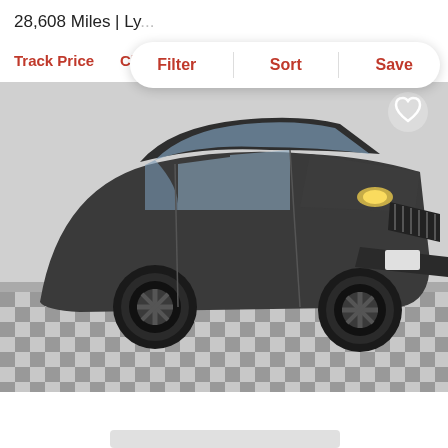28,608 Miles | Ly...
Filter | Sort | Save
Track Price   Che...
[Figure (photo): A dark gray 2016 Jeep Cherokee SUV parked on a checkered tile floor in a showroom, front 3/4 view, with a heart/favorite icon in the top right corner of the image.]
2016 Jeep Cherokee
Accepting